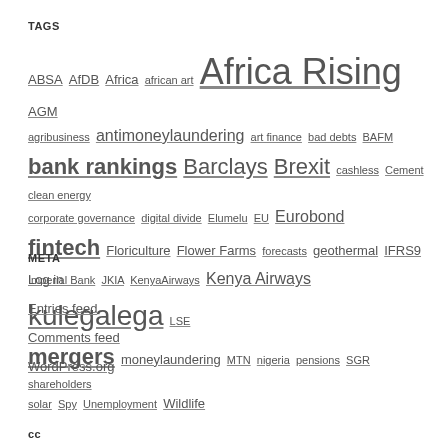TAGS
ABSA AfDB Africa african art Africa Rising AGM agribusiness antimoneylaundering art finance bad debts BAFM bank rankings Barclays Brexit cashless Cement clean energy corporate governance digital divide Elumelu EU Eurobond fintech Floriculture Flower Farms forecasts geothermal IFRS9 Imperial Bank JKIA KenyaAirways Kenya Airways kulegalega LSE mergers moneylaundering MTN nigeria pensions SGR shareholders solar Spy Unemployment Wildlife
META
Log in
Entries feed
Comments feed
WordPress.org
cc